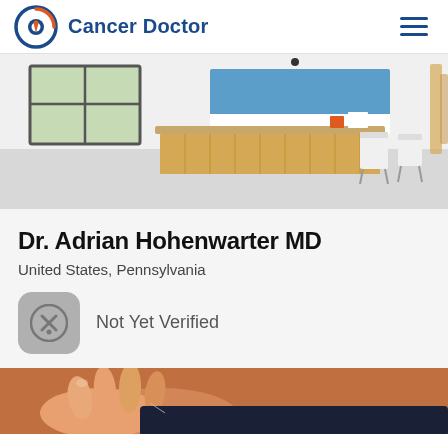Cancer Doctor
[Figure (photo): Medical office reception area with a wooden reception desk, white walls with a blue accent panel, large window with greenery outside, and white chairs in the waiting area]
Dr. Adrian Hohenwarter MD
United States, Pennsylvania
Not Yet Verified
[Figure (photo): Close-up of hands clasped together, person wearing dark clothing, warm orange/skin tone background]